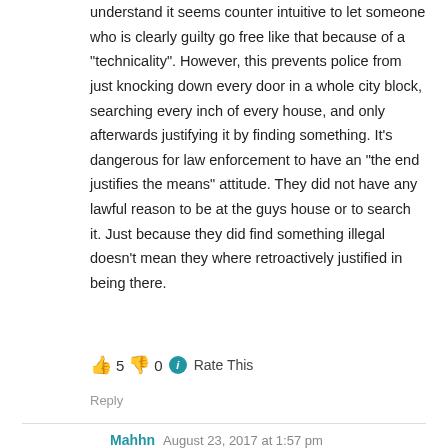understand it seems counter intuitive to let someone who is clearly guilty go free like that because of a “technicality”. However, this prevents police from just knocking down every door in a whole city block, searching every inch of every house, and only afterwards justifying it by finding something. It’s dangerous for law enforcement to have an “the end justifies the means” attitude. They did not have any lawful reason to be at the guys house or to search it. Just because they did find something illegal doesn’t mean they where retroactively justified in being there.
👍 5 👎 0 ⓘ Rate This
Reply
Mahhn  August 23, 2017 at 1:57 pm
Max, I see what you’re saying, and if it wasn’t for